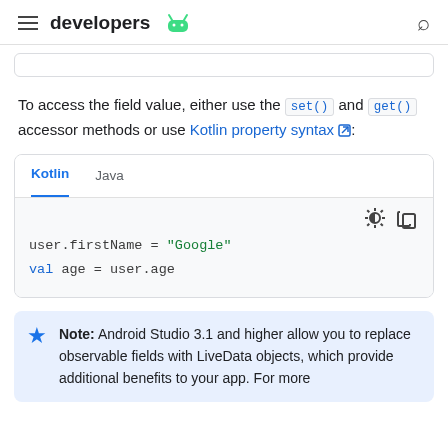developers
To access the field value, either use the set() and get() accessor methods or use Kotlin property syntax:
[Figure (screenshot): Code block with Kotlin and Java tabs showing: user.firstName = "Google" and val age = user.age]
Note: Android Studio 3.1 and higher allow you to replace observable fields with LiveData objects, which provide additional benefits to your app. For more